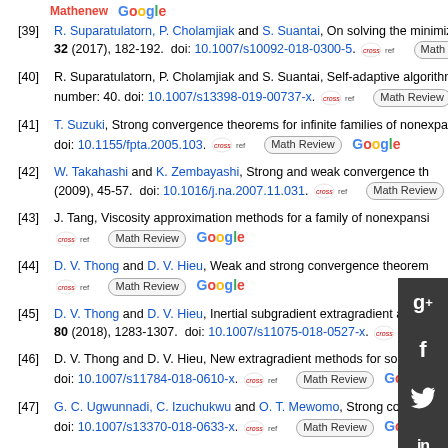[39] R. Suparatulatorn, P. Cholamjiak and S. Suantai, On solving the minimization... 32 (2017), 182-192. doi: 10.1007/s10092-018-0300-5.
[40] R. Suparatulatorn, P. Cholamjiak and S. Suantai, Self-adaptive algorithms w... number: 40. doi: 10.1007/s13398-019-00737-x.
[41] T. Suzuki, Strong convergence theorems for infinite families of nonexpansive... doi: 10.1155/fpta.2005.103.
[42] W. Takahashi and K. Zembayashi, Strong and weak convergence th... (2009), 45-57. doi: 10.1016/j.na.2007.11.031.
[43] J. Tang, Viscosity approximation methods for a family of nonexpansi...
[44] D. V. Thong and D. V. Hieu, Weak and strong convergence theorem...
[45] D. V. Thong and D. V. Hieu, Inertial subgradient extragradient algori... 80 (2018), 1283-1307. doi: 10.1007/s11075-018-0527-x.
[46] D. V. Thong and D. V. Hieu, New extragradient methods for solving v... doi: 10.1007/s11784-018-0610-x.
[47] G. C. Ugwunnadi, C. Izuchukwu and O. T. Mewomo, Strong convergence th... doi: 10.1007/s13370-018-0633-x.
[48] H. K. Xu, Iterative algorithms for nonlinear operators, J. London Math. Soc....